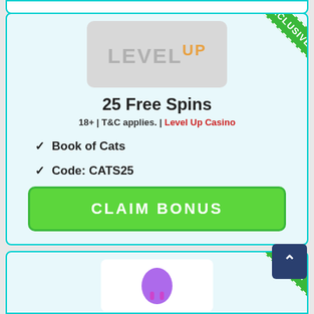[Figure (logo): LevelUp Casino logo - grey rectangle with LEVEL text and UP in gold superscript]
25 Free Spins
18+ | T&C applies. | Level Up Casino
Book of Cats
Code: CATS25
$400 Casino Bonus
CLAIM BONUS
[Figure (logo): Bottom casino logo - partially visible, appears to be a space/rocket themed casino]